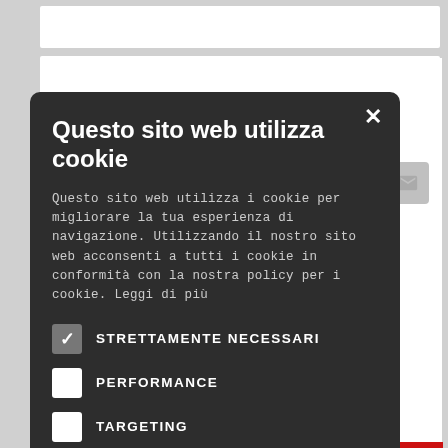[Figure (screenshot): Website background with white content area, social share icons (StumbleUpon, email), a red SUCCESSIVO navigation button, and partial article text visible behind a cookie consent modal dialog.]
Questo sito web utilizza cookie
Questo sito web utilizza i cookie per migliorare la tua esperienza di navigazione. Utilizzando il nostro sito web acconsenti a tutti i cookie in conformità con la nostra policy per i cookie. Leggi di più
STRETTAMENTE NECESSARI
PERFORMANCE
TARGETING
ACCETTA TUTTO
RIFIUTA TUTTO
MOSTRA DETTAGLI